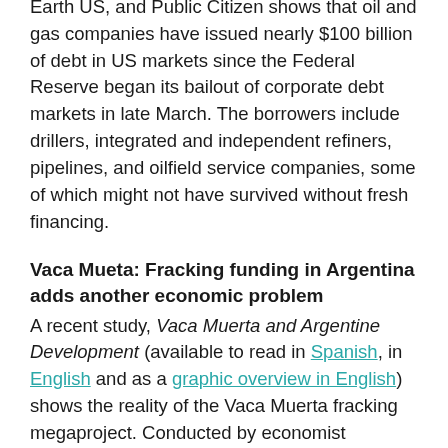Earth US, and Public Citizen shows that oil and gas companies have issued nearly $100 billion of debt in US markets since the Federal Reserve began its bailout of corporate debt markets in late March. The borrowers include drillers, integrated and independent refiners, pipelines, and oilfield service companies, some of which might not have survived without fresh financing.
Vaca Mueta: Fracking funding in Argentina adds another economic problem
A recent study, Vaca Muerta and Argentine Development (available to read in Spanish, in English and as a graphic overview in English) shows the reality of the Vaca Muerta fracking megaproject. Conducted by economist Gustavo García Zanotti,